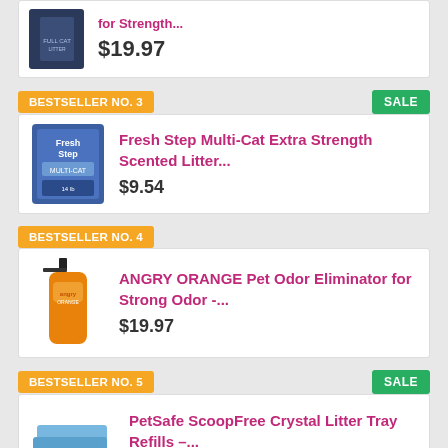[Figure (photo): Partial product card at top showing a dark blue bottle product image and price $19.97]
$19.97
BESTSELLER NO. 3
SALE
[Figure (photo): Fresh Step Multi-Cat Extra Strength Scented Litter product image - blue box]
Fresh Step Multi-Cat Extra Strength Scented Litter...
$9.54
BESTSELLER NO. 4
[Figure (photo): ANGRY ORANGE Pet Odor Eliminator spray bottle - orange bottle with black spray top]
ANGRY ORANGE Pet Odor Eliminator for Strong Odor -...
$19.97
BESTSELLER NO. 5
SALE
[Figure (photo): PetSafe ScoopFree Crystal Litter Tray Refills - stack of blue crystal litter trays]
PetSafe ScoopFree Crystal Litter Tray Refills –...
$69.95
Recent Posts